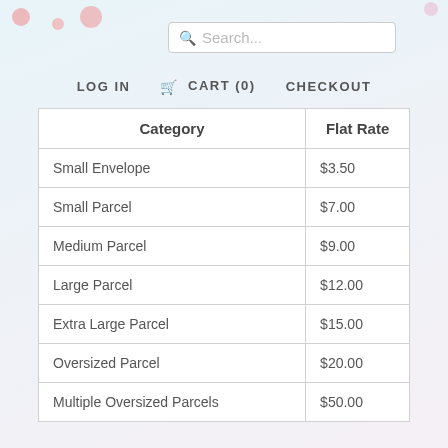LOG IN   CART (0)   CHECKOUT
| Category | Flat Rate |
| --- | --- |
| Small Envelope | $3.50 |
| Small Parcel | $7.00 |
| Medium Parcel | $9.00 |
| Large Parcel | $12.00 |
| Extra Large Parcel | $15.00 |
| Oversized Parcel | $20.00 |
| Multiple Oversized Parcels | $50.00 |